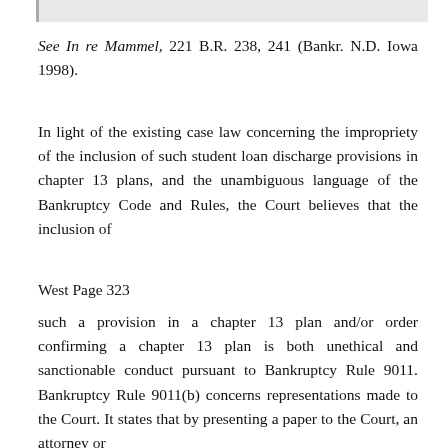See In re Mammel, 221 B.R. 238, 241 (Bankr. N.D. Iowa 1998).
In light of the existing case law concerning the impropriety of the inclusion of such student loan discharge provisions in chapter 13 plans, and the unambiguous language of the Bankruptcy Code and Rules, the Court believes that the inclusion of
West Page 323
such a provision in a chapter 13 plan and/or order confirming a chapter 13 plan is both unethical and sanctionable conduct pursuant to Bankruptcy Rule 9011. Bankruptcy Rule 9011(b) concerns representations made to the Court. It states that by presenting a paper to the Court, an attorney or